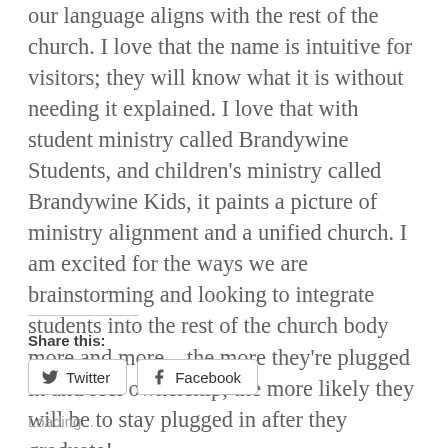our language aligns with the rest of the church. I love that the name is intuitive for visitors; they will know what it is without needing it explained. I love that with student ministry called Brandywine Students, and children's ministry called Brandywine Kids, it paints a picture of ministry alignment and a unified church. I am excited for the ways we are brainstorming and looking to integrate students into the rest of the church body more and more – the more they're plugged in and feel ownership, the more likely they will be to stay plugged in after they graduate!
Share this:
Twitter
Facebook
Loading...